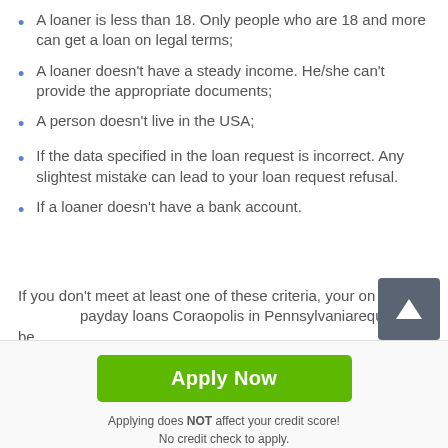A loaner is less than 18. Only people who are 18 and more can get a loan on legal terms;
A loaner doesn't have a steady income. He/she can't provide the appropriate documents;
A person doesn't live in the USA;
If the data specified in the loan request is incorrect. Any slightest mistake can lead to your loan request refusal.
If a loaner doesn't have a bank account.
If you don't meet at least one of these criteria, your online payday loans Coraopolis in Pennsylvaniarequest will be
Apply Now
Applying does NOT affect your credit score!
No credit check to apply.